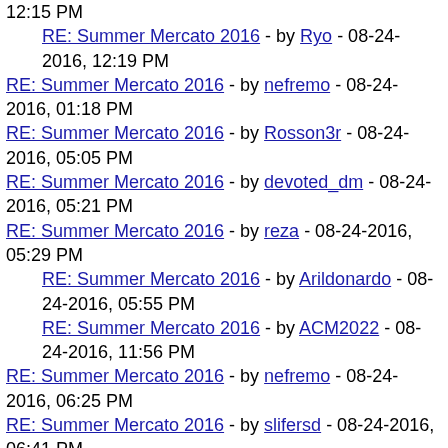12:15 PM
RE: Summer Mercato 2016 - by Ryo - 08-24-2016, 12:19 PM
RE: Summer Mercato 2016 - by nefremo - 08-24-2016, 01:18 PM
RE: Summer Mercato 2016 - by Rosson3r - 08-24-2016, 05:05 PM
RE: Summer Mercato 2016 - by devoted_dm - 08-24-2016, 05:21 PM
RE: Summer Mercato 2016 - by reza - 08-24-2016, 05:29 PM
RE: Summer Mercato 2016 - by Arildonardo - 08-24-2016, 05:55 PM
RE: Summer Mercato 2016 - by ACM2022 - 08-24-2016, 11:56 PM
RE: Summer Mercato 2016 - by nefremo - 08-24-2016, 06:25 PM
RE: Summer Mercato 2016 - by slifersd - 08-24-2016, 06:41 PM
RE: Summer Mercato 2016 - by Sosa10 - 08-24-2016, 07:41 PM
RE: Summer Mercato 2016 - by WCmilan - 08-24-2016, 11:39 PM
RE: Summer Mercato 2016 - by nefremo - 08-25-2016, 12:42 AM
RE: Summer Mercato 2016 - by ACM2022 - 08-25-2016, 12:56 AM
RE: Summer Mercato 2016 - by ... - 08-25-2016, 01:01 AM